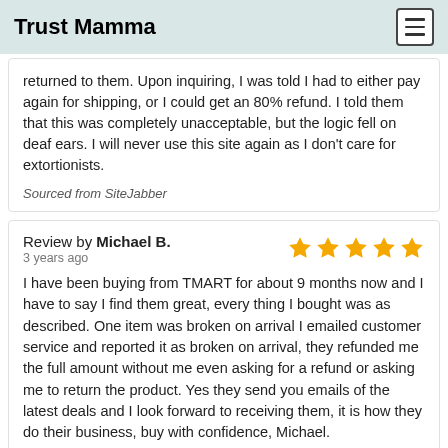Trust Mamma
returned to them. Upon inquiring, I was told I had to either pay again for shipping, or I could get an 80% refund. I told them that this was completely unacceptable, but the logic fell on deaf ears. I will never use this site again as I don't care for extortionists.
Sourced from SiteJabber
Review by Michael B.
3 years ago
I have been buying from TMART for about 9 months now and I have to say I find them great, every thing I bought was as described. One item was broken on arrival I emailed customer service and reported it as broken on arrival, they refunded me the full amount without me even asking for a refund or asking me to return the product. Yes they send you emails of the latest deals and I look forward to receiving them, it is how they do their business, buy with confidence, Michael.